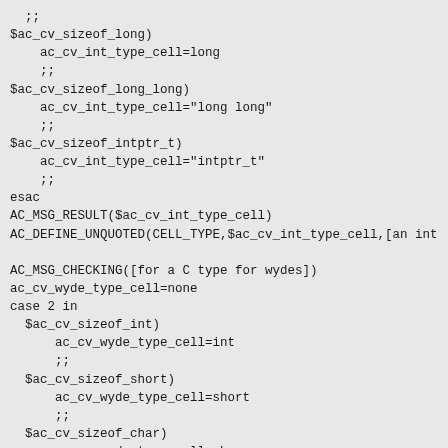;;
$ac_cv_sizeof_long)
    ac_cv_int_type_cell=long
    ;;
$ac_cv_sizeof_long_long)
    ac_cv_int_type_cell="long long"
    ;;
$ac_cv_sizeof_intptr_t)
    ac_cv_int_type_cell="intptr_t"
    ;;
esac
AC_MSG_RESULT($ac_cv_int_type_cell)
AC_DEFINE_UNQUOTED(CELL_TYPE,$ac_cv_int_type_cell,[an int

AC_MSG_CHECKING([for a C type for wydes])
ac_cv_wyde_type_cell=none
case 2 in
  $ac_cv_sizeof_int)
      ac_cv_wyde_type_cell=int
      ;;
  $ac_cv_sizeof_short)
      ac_cv_wyde_type_cell=short
      ;;
  $ac_cv_sizeof_char)
      ac_cv_wyde_type_cell=char
      ;;
  $ac_cv_sizeof_long)
      ac_cv_wyde_type_cell=long
      ;;
  $ac_cv_sizeof_long_long)